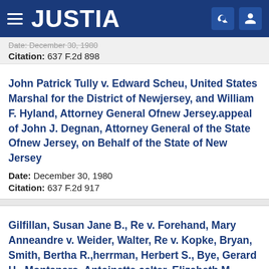JUSTIA
Date: December 30, 1980
Citation: 637 F.2d 898
John Patrick Tully v. Edward Scheu, United States Marshal for the District of Newjersey, and William F. Hyland, Attorney General Ofnew Jersey.appeal of John J. Degnan, Attorney General of the State Ofnew Jersey, on Behalf of the State of New Jersey
Date: December 30, 1980
Citation: 637 F.2d 917
Gilfillan, Susan Jane B., Re v. Forehand, Mary Anneandre v. Weider, Walter, Re v. Kopke, Bryan, Smith, Bertha R.,herrman, Herbert S., Bye, Gerard H., Montanaro, Antoinette,calter, Elizabeth M., Miln, Martha Walker, Fox, Paul H.,schulte, Janice,